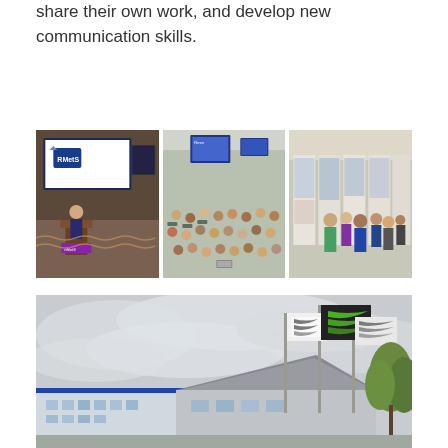share their own work, and develop new communication skills.
[Figure (photo): Three panel photo: left shows a presenter at a podium with RMetS logo on screen; middle shows an audience in a lecture room with screens visible; right shows students viewing research posters at a poster session.]
[Figure (photo): Exterior photo of a modern building with flags flying, including what appears to be an ECMWF or similar meteorological organisation building under a cloudy sky.]